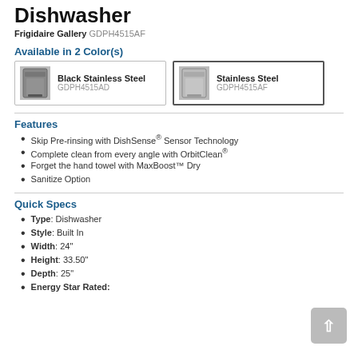Dishwasher
Frigidaire Gallery GDPH4515AF
Available in 2 Color(s)
Black Stainless Steel GDPH4515AD
Stainless Steel GDPH4515AF
Features
Skip Pre-rinsing with DishSense® Sensor Technology
Complete clean from every angle with OrbitClean®
Forget the hand towel with MaxBoost™ Dry
Sanitize Option
Quick Specs
Type: Dishwasher
Style: Built In
Width: 24"
Height: 33.50"
Depth: 25"
Energy Star Rated: ...